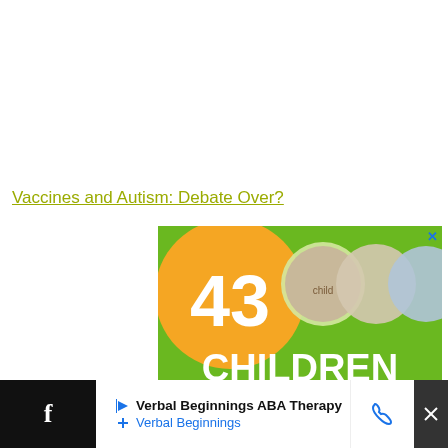Vaccines and Autism: Debate Over?
[Figure (infographic): Advertisement showing '43 CHILDREN A Day Are Diagnosed With Cancer in the U.S.' with photos of three children on green background with orange circle]
[Figure (infographic): Bottom advertisement bar: Verbal Beginnings ABA Therapy / Verbal Beginnings with phone icon and play button]